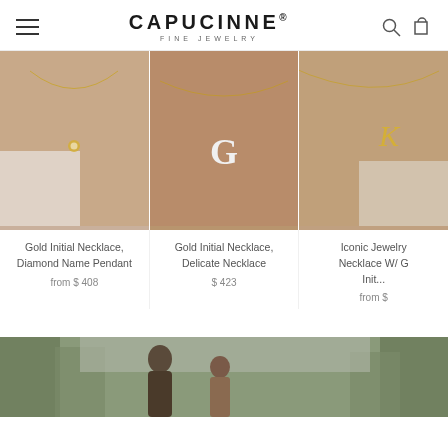CAPUCINNE® FINE JEWELRY
[Figure (photo): Close-up of a woman wearing a gold necklace with a diamond name pendant on a delicate chain]
Gold Initial Necklace, Diamond Name Pendant
from $ 408
[Figure (photo): Close-up of a woman's chest wearing a gold necklace with a large letter G initial pendant]
Gold Initial Necklace, Delicate Necklace
$ 423
[Figure (photo): Close-up of a woman wearing a gold necklace with a script letter K initial pendant]
Iconic Jewelry Necklace W/ G Init...
from $
[Figure (photo): A couple standing outdoors among trees, lifestyle photo for jewelry brand]